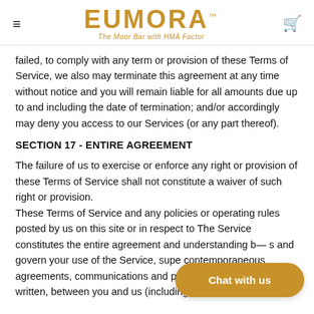EUMORA™ — The Moor Bar with HMA Factor
failed, to comply with any term or provision of these Terms of Service, we also may terminate this agreement at any time without notice and you will remain liable for all amounts due up to and including the date of termination; and/or accordingly may deny you access to our Services (or any part thereof).
SECTION 17 - ENTIRE AGREEMENT
The failure of us to exercise or enforce any right or provision of these Terms of Service shall not constitute a waiver of such right or provision.
These Terms of Service and any policies or operating rules posted by us on this site or in respect to The Service constitutes the entire agreement and understanding b... and govern your use of the Service, super... contemporaneous agreements, communications and proposals, whether oral or written, between you and us (including, but not